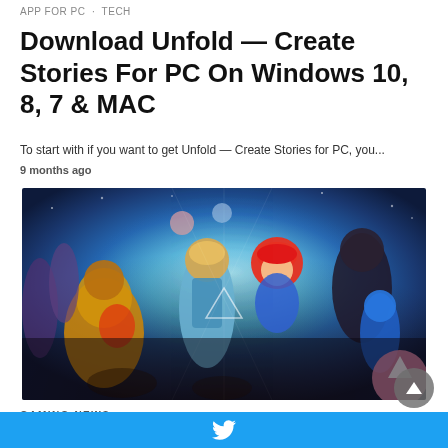APP FOR PC · TECH
Download Unfold — Create Stories For PC On Windows 10, 8, 7 & MAC
To start with if you want to get Unfold — Create Stories for PC, you...
9 months ago
[Figure (photo): Super Smash Bros promotional artwork featuring many Nintendo characters including Mario, Link, Bowser, Kirby, Mega Man and others in a dramatic group pose against a glowing blue background]
GAMING NEWS
[Figure (logo): Twitter bird logo icon in white on blue bar at bottom of page]